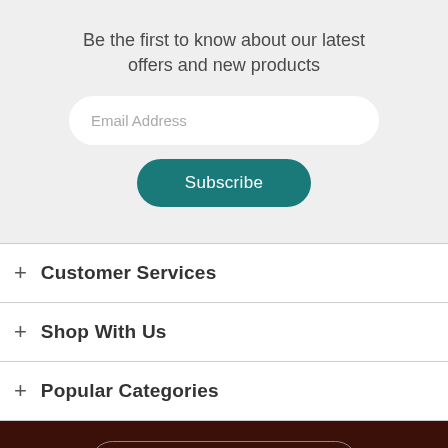Be the first to know about our latest offers and new products
Email Address
Subscribe
+ Customer Services
+ Shop With Us
+ Popular Categories
Login to view your account
Follow us on social media
[Figure (illustration): Social media icons: Facebook (blue circle with f), Twitter (blue circle with bird), Instagram (gradient circle with camera)]